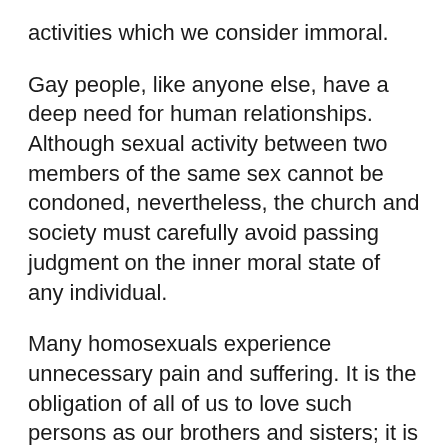activities which we consider immoral.
Gay people, like anyone else, have a deep need for human relationships. Although sexual activity between two members of the same sex cannot be condoned, nevertheless, the church and society must carefully avoid passing judgment on the inner moral state of any individual.
Many homosexuals experience unnecessary pain and suffering. It is the obligation of all of us to love such persons as our brothers and sisters; it is the firm intention of this local church not only to advocate for the rights of homosexuals...